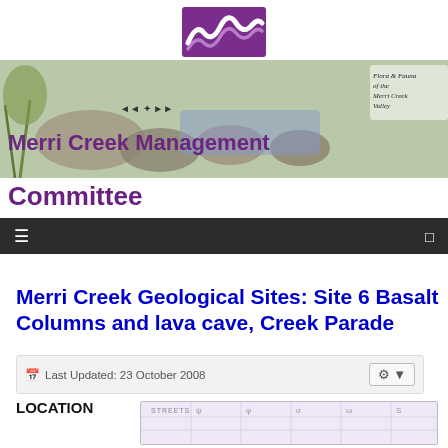[Figure (logo): Purple wave/squiggle logo for Merri Creek Management Committee]
[Figure (illustration): Banner image showing creek stones, flora and fauna with text overlay. Right side reads 'Flora & Fauna of the Merri Creek Valley']
Merri Creek Management Committee
Navigation bar with hamburger menu and monitor icon
Merri Creek Geological Sites: Site 6 Basalt Columns and lava cave, Creek Parade
Last Updated: 23 October 2008
LOCATION
[Figure (map): Street map preview showing STREETS label and grid markers]